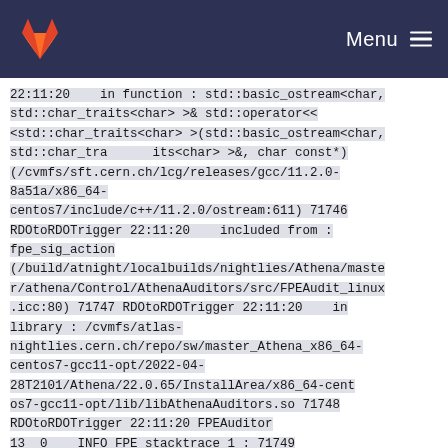Menu
22:11:20    in function : std::basic_ostream<char, std::char_traits<char> >& std::operator<<<std::char_traits<char> >(std::basic_ostream<char, std::char_tra      its<char> >&, char const*)(/cvmfs/sft.cern.ch/lcg/releases/gcc/11.2.0-8a51a/x86_64-centos7/include/c++/11.2.0/ostream:611) 71746 RDOtoRDOTrigger 22:11:20    included from : fpe_sig_action (/build/atnight/localbuilds/nightlies/Athena/master/athena/Control/AthenaAuditors/src/FPEAudit_linux.icc:80) 71747 RDOtoRDOTrigger 22:11:20    in library : /cvmfs/atlas-nightlies.cern.ch/repo/sw/master_Athena_x86_64-centos7-gcc11-opt/2022-04-28T2101/Athena/22.0.65/InstallArea/x86_64-centos7-gcc11-opt/lib/libAthenaAuditors.so 71748 RDOtoRDOTrigger 22:11:20 FPEAuditor 13  0    INFO FPE stacktrace 1 : 71749